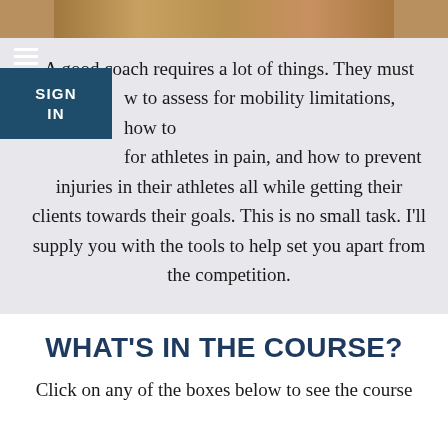[Figure (photo): Partial photo visible at top of page, appears to show athletic or coaching context]
A good coach requires a lot of things. They must know to assess for mobility limitations, how to care for athletes in pain, and how to prevent injuries in their athletes all while getting their clients towards their goals. This is no small task. I'll supply you with the tools to help set you apart from the competition.
WHAT'S IN THE COURSE?
Click on any of the boxes below to see the course